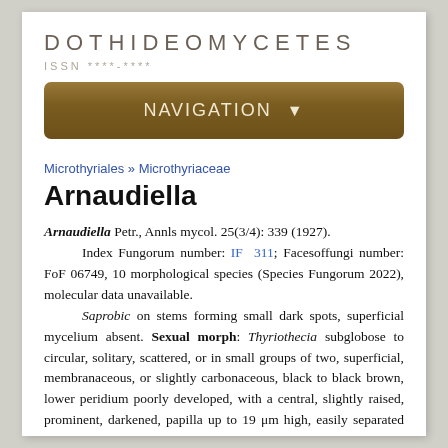DOTHIDEOMYCETES
ISSN ****-****
NAVIGATION ▾
Microthyriales » Microthyriaceae
Arnaudiella
Arnaudiella Petr., Annls mycol. 25(3/4): 339 (1927). Index Fungorum number: IF 311; Facesoffungi number: FoF 06749, 10 morphological species (Species Fungorum 2022), molecular data unavailable. Saprobic on stems forming small dark spots, superficial mycelium absent. Sexual morph: Thyriothecia subglobose to circular, solitary, scattered, or in small groups of two, superficial, membranaceous, or slightly carbonaceous, black to black brown, lower peridium poorly developed, with a central, slightly raised, prominent, darkened, papilla up to 19 μm high, easily separated from host surface;